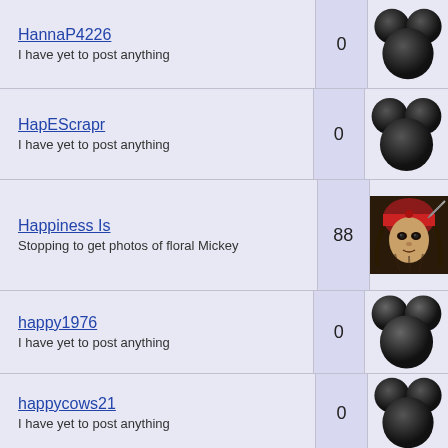| User | Count | Avatar |
| --- | --- | --- |
| HannaP4226 / I have yet to post anything | 0 | Mickey icon |
| HapEScrapr / I have yet to post anything | 0 | Mickey icon |
| Happiness Is / Stopping to get photos of floral Mickey | 88 | Pirate photo |
| happy1976 / I have yet to post anything | 0 | Mickey icon |
| happycows21 / I have yet to post anything | 0 | Mickey icon |